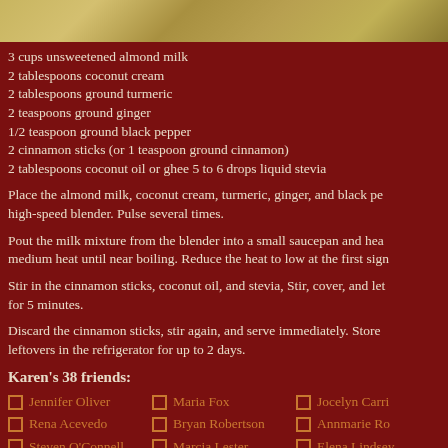[Figure (photo): Top image of a dish, golden/yellow colored food]
3 cups unsweetened almond milk
2 tablespoons coconut cream
2 tablespoons ground turmeric
2 teaspoons ground ginger
1/2 teaspoon ground black pepper
2 cinnamon sticks (or 1 teaspoon ground cinnamon)
2 tablespoons coconut oil or ghee 5 to 6 drops liquid stevia
Place the almond milk, coconut cream, turmeric, ginger, and black pepper in a high-speed blender. Pulse several times.
Pout the milk mixture from the blender into a small saucepan and heat over medium heat until near boiling. Reduce the heat to low at the first sign
Stir in the cinnamon sticks, coconut oil, and stevia, Stir, cover, and let for 5 minutes.
Discard the cinnamon sticks, stir again, and serve immediately. Store leftovers in the refrigerator for up to 2 days.
Karen's 38 friends:
Jennifer Oliver
Maria Fox
Jocelyn Carril
Rena Acevedo
Bryan Robertson
Annmarie Ron
Steven O'Connell
Marcia Lester
Elena Lindsey
Mabel Byrd
Moises Burton
Michelle Paym